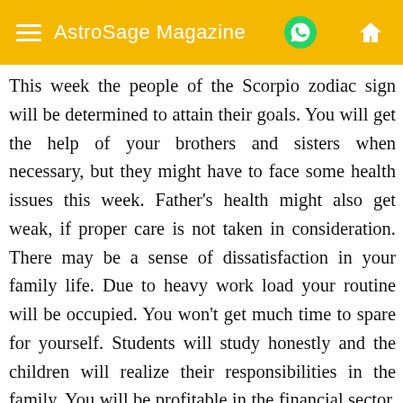AstroSage Magazine
This week the people of the Scorpio zodiac sign will be determined to attain their goals. You will get the help of your brothers and sisters when necessary, but they might have to face some health issues this week. Father’s health might also get weak, if proper care is not taken in consideration. There may be a sense of dissatisfaction in your family life. Due to heavy work load your routine will be occupied. You won’t get much time to spare for yourself. Students will study honestly and the children will realize their responsibilities in the family. You will be profitable in the financial sector. There are chances of tremendous growth in your income. Elder brothers or